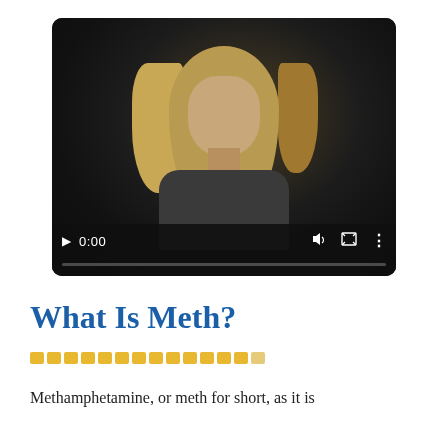[Figure (screenshot): Video player showing a young person with blonde hair in a dark background. Controls show play button, 0:00 timestamp, volume, fullscreen, and menu icons with a progress bar at the bottom.]
What Is Meth?
Methamphetamine, or meth for short, as it is